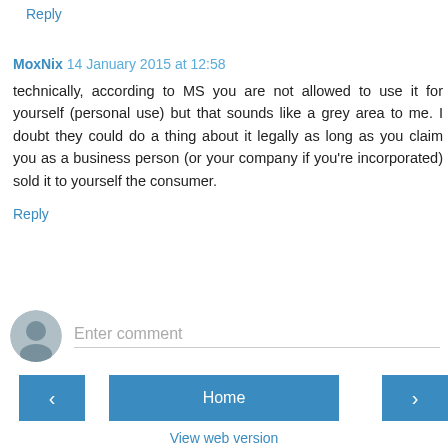Reply
MoxNix 14 January 2015 at 12:58
technically, according to MS you are not allowed to use it for yourself (personal use) but that sounds like a grey area to me. I doubt they could do a thing about it legally as long as you claim you as a business person (or your company if you're incorporated) sold it to yourself the consumer.
Reply
Enter comment
Home
View web version
Powered by Blogger.